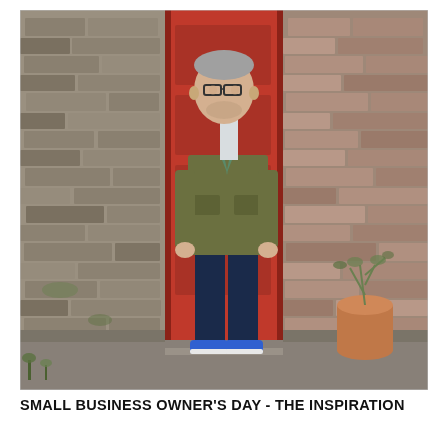[Figure (photo): A middle-aged man with glasses and short grey hair stands in front of a red door set in an old stone/brick wall. He is wearing an olive/khaki jacket, dark navy jeans, and blue sneakers, with hands in his pockets. A terracotta pot with a plant is visible to his right. The setting appears to be a rustic courtyard or alleyway.]
SMALL BUSINESS OWNER'S DAY - THE INSPIRATION